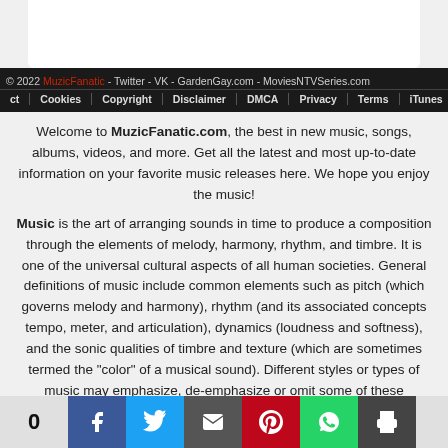[Figure (screenshot): White card partial view at top]
© 2022 MuzicFanatic - Twitter - VK - GardenGay.com - MoviesNTVSeries.com
ct | Cookies | Copyright | Disclaimer | DMCA | Privacy | Terms | iTunes
Welcome to MuzicFanatic.com, the best in new music, songs, albums, videos, and more. Get all the latest and most up-to-date information on your favorite music releases here. We hope you enjoy the music!
Music is the art of arranging sounds in time to produce a composition through the elements of melody, harmony, rhythm, and timbre. It is one of the universal cultural aspects of all human societies. General definitions of music include common elements such as pitch (which governs melody and harmony), rhythm (and its associated concepts tempo, meter, and articulation), dynamics (loudness and softness), and the sonic qualities of timbre and texture (which are sometimes termed the "color" of a musical sound). Different styles or types of music may emphasize, de-emphasize or omit some of these elements. Music is performed with a vast range of instruments and vocal techniques ranging from singing to rapping; there are solely instrumental pieces
[Figure (infographic): Social share bar with count 0, Facebook, Twitter, Email, Pinterest, WhatsApp, and Print buttons]